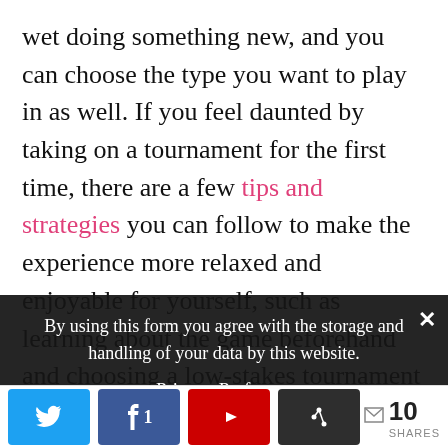wet doing something new, and you can choose the type you want to play in as well. If you feel daunted by taking on a tournament for the first time, there are a few tips and strategies you can follow to make the experience more relaxed and enjoyable for yourself, such as learning about the game beforehand and choosing a low-stakes tournament to take the pressure off.
By using this form you agree with the storage and handling of your data by this website.
Privacy Preferences
I Agree